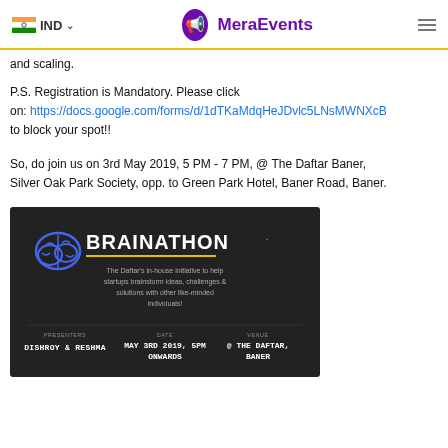IND  MeraEvents
and scaling.
P.S. Registration is Mandatory. Please click on: https://docs.google.com/forms/d/1dTKaMdqHeJDvlc5LNsMWNXcB to block your spot!!
So, do join us on 3rd May 2019, 5 PM - 7 PM, @ The Daftar Baner, Silver Oak Park Society, opp. to Green Park Hotel, Baner Road, Baner.
[Figure (illustration): Brainathon event banner with dark background showing a brain logo, title BRAINATHON, description text, and event details: Presenters Dishroy & Reshma, May 3rd 2019 5PM Onwards, @ The Daftar Baner]